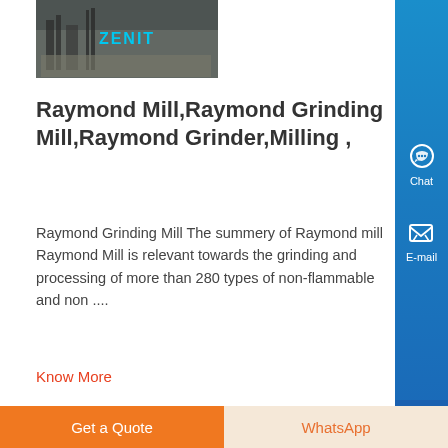[Figure (photo): Construction/mining machinery at a worksite with ZENIT branding overlay (top image, partially visible)]
Raymond Mill,Raymond Grinding Mill,Raymond Grinder,Milling ,
Raymond Grinding Mill The summery of Raymond mill Raymond Mill is relevant towards the grinding and processing of more than 280 types of non-flammable and non ....
Know More
[Figure (photo): Crushing/mining plant machinery at a worksite with ZENIT branding overlay (bottom image)]
Get a Quote
WhatsApp